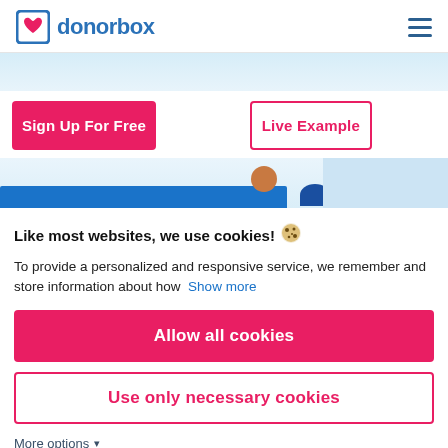[Figure (logo): Donorbox logo with blue bracket icon and red heart, followed by text 'donorbox' in blue]
[Figure (illustration): Light blue banner with decorative illustration of blue bar, brown circle, dark blue rounded shape, and lighter right panel]
Sign Up For Free
Live Example
Like most websites, we use cookies! 🍪
To provide a personalized and responsive service, we remember and store information about how  Show more
Allow all cookies
Use only necessary cookies
More options ▾